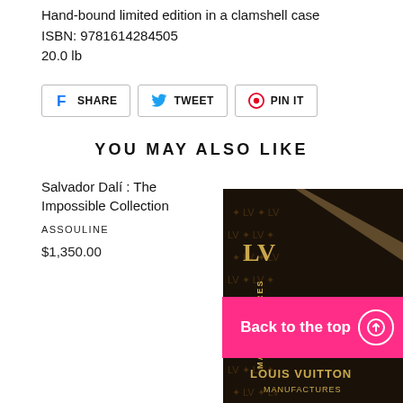Hand-bound limited edition in a clamshell case
ISBN: 9781614284505
20.0 lb
[Figure (screenshot): Social sharing buttons: Facebook SHARE, Twitter TWEET, Pinterest PIN IT]
YOU MAY ALSO LIKE
Salvador Dalí : The Impossible Collection
ASSOULINE
$1,350.00
[Figure (photo): Louis Vuitton Manufactures book in dark LV monogram clamshell case with gold spine text]
Back to the top